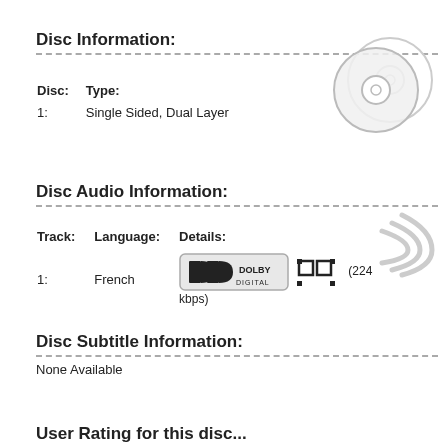Disc Information:
| Disc: | Type: |
| --- | --- |
| 1: | Single Sided, Dual Layer |
[Figure (illustration): Two overlapping DVD disc icons in light gray]
Disc Audio Information:
| Track: | Language: | Details: |
| --- | --- | --- |
| 1: | French | Dolby Digital logo + speaker channel diagram (224 kbps) |
[Figure (illustration): Sound wave illustration in light gray]
Disc Subtitle Information:
None Available
User Rating for this disc...